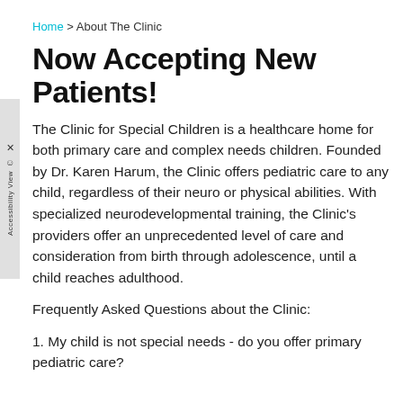Home > About The Clinic
Now Accepting New Patients!
The Clinic for Special Children is a healthcare home for both primary care and complex needs children. Founded by Dr. Karen Harum, the Clinic offers pediatric care to any child, regardless of their neuro or physical abilities. With specialized neurodevelopmental training, the Clinic's providers offer an unprecedented level of care and consideration from birth through adolescence, until a child reaches adulthood.
Frequently Asked Questions about the Clinic:
1. My child is not special needs - do you offer primary pediatric care?